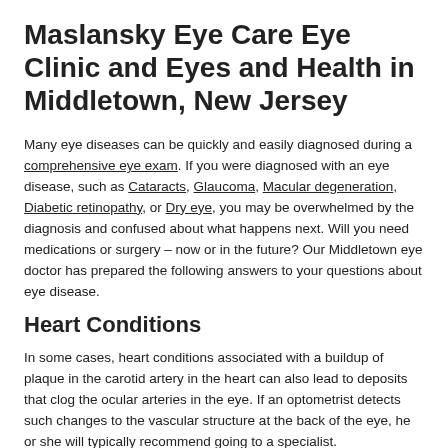Maslansky Eye Care Eye Clinic and Eyes and Health in Middletown, New Jersey
Many eye diseases can be quickly and easily diagnosed during a comprehensive eye exam. If you were diagnosed with an eye disease, such as Cataracts, Glaucoma, Macular degeneration, Diabetic retinopathy, or Dry eye, you may be overwhelmed by the diagnosis and confused about what happens next. Will you need medications or surgery – now or in the future? Our Middletown eye doctor has prepared the following answers to your questions about eye disease.
Heart Conditions
In some cases, heart conditions associated with a buildup of plaque in the carotid artery in the heart can also lead to deposits that clog the ocular arteries in the eye. If an optometrist detects such changes to the vascular structure at the back of the eye, he or she will typically recommend going to a specialist.